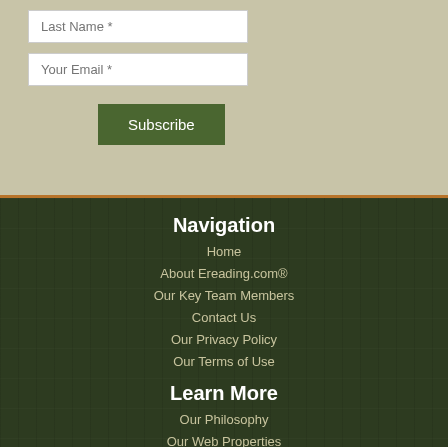Last Name *
Your Email *
Subscribe
Navigation
Home
About Ereading.com®
Our Key Team Members
Contact Us
Our Privacy Policy
Our Terms of Use
Learn More
Our Philosophy
Our Web Properties